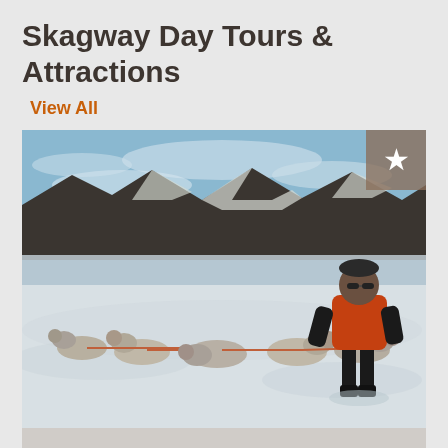Skagway Day Tours & Attractions
View All
[Figure (photo): A person in an orange vest crouching among a team of sled dogs (huskies) on a snow-covered landscape with rocky mountains in the background under a partly cloudy sky. A tan/brown square badge with a white star is visible in the top-right corner of the photo.]